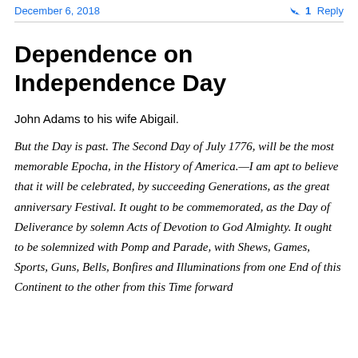December 6, 2018
1 Reply
Dependence on Independence Day
John Adams to his wife Abigail.
But the Day is past. The Second Day of July 1776, will be the most memorable Epocha, in the History of America.—I am apt to believe that it will be celebrated, by succeeding Generations, as the great anniversary Festival. It ought to be commemorated, as the Day of Deliverance by solemn Acts of Devotion to God Almighty. It ought to be solemnized with Pomp and Parade, with Shews, Games, Sports, Guns, Bells, Bonfires and Illuminations from one End of this Continent to the other from this Time forward